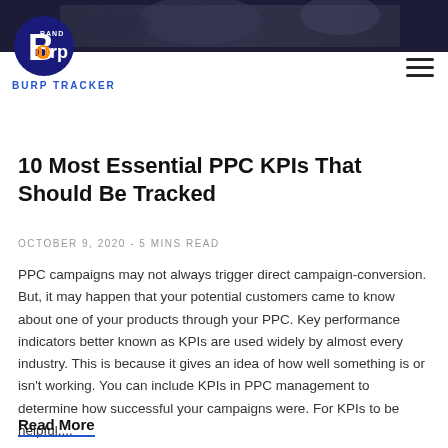[Figure (screenshot): Dark header banner with blurred background image showing people]
[Figure (logo): Brand Burp logo with stylized B and orange/blue color scheme, with text BURP TRACKER below]
10 Most Essential PPC KPIs That Should Be Tracked
OCTOBER 9, 2020 - 5 MINS READ
PPC campaigns may not always trigger direct campaign-conversion. But, it may happen that your potential customers came to know about one of your products through your PPC. Key performance indicators better known as KPIs are used widely by almost every industry. This is because it gives an idea of how well something is or isn't working. You can include KPIs in PPC management to determine how successful your campaigns were. For KPIs to be helpful,...
Read More